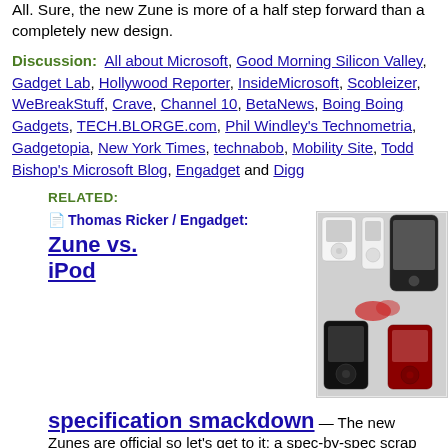All.  Sure, the new Zune is more of a half step forward than a completely new design.
Discussion:  All about Microsoft, Good Morning Silicon Valley, Gadget Lab, Hollywood Reporter, InsideMicrosoft, Scobleizer, WeBreakStuff, Crave, Channel 10, BetaNews, Boing Boing Gadgets, TECH.BLORGE.com, Phil Windley's Technometria, Gadgetopia, New York Times, technabob, Mobility Site, Todd Bishop's Microsoft Blog, Engadget and Digg
RELATED:
Thomas Ricker / Engadget:
Zune vs. iPod
[Figure (photo): Photo showing various iPod and Zune media players side by side]
specification smackdown
— The new Zunes are official so let's get to it: a spec-by-spec scrap between Redmond's new Zunes and Cupertino's formidable iPod foe.  Unfortunately, Microsoft failed to mention the all...